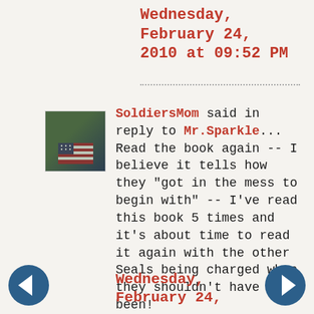Wednesday, February 24, 2010 at 09:52 PM
SoldiersMom said in reply to Mr.Sparkle... Read the book again -- I believe it tells how they "got in the mess to begin with" -- I've read this book 5 times and it's about time to read it again with the other Seals being charged when they shouldn't have been!
Wednesday, February 24,